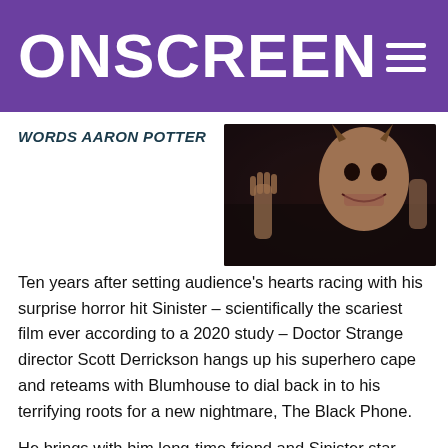ONSCREEN
WORDS AARON POTTER
[Figure (photo): A horror film still showing a masked figure with horns and a disturbing grin, pressing hands against a surface in a dark scene]
Ten years after setting audience's hearts racing with his surprise horror hit Sinister – scientifically the scariest film ever according to a 2020 study – Doctor Strange director Scott Derrickson hangs up his superhero cape and reteams with Blumhouse to dial back in to his terrifying roots for a new nightmare, The Black Phone.
He brings with him long-time friend and Sinister star Ethan Hawke as his lead, only this time, he isn't the hero.